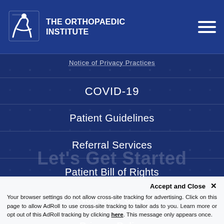[Figure (logo): The Orthopaedic Institute logo with icon and text]
The Orthopaedic Institute
Notice of Privacy Practices
COVID-19
Patient Guidelines
Referral Services
Patient Bill of Rights
No Pets Policy
Privacy Policy
Accept and Close ✕
Your browser settings do not allow cross-site tracking for advertising. Click on this page to allow AdRoll to use cross-site tracking to tailor ads to you. Learn more or opt out of this AdRoll tracking by clicking here. This message only appears once.